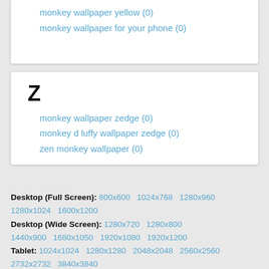monkey wallpaper yellow (0)
monkey wallpaper for your phone (0)
Z
monkey wallpaper zedge (0)
monkey d luffy wallpaper zedge (0)
zen monkey wallpaper (0)
Desktop (Full Screen): 800x600  1024x768  1280x960  1280x1024  1600x1200
Desktop (Wide Screen): 1280x720  1280x800  1440x900  1680x1050  1920x1080  1920x1200
Tablet: 1024x1024  1280x1280  2048x2048  2560x2560  2732x2732  3840x3840
Mobile (16x9): 540x960  720x1280  1080x1920